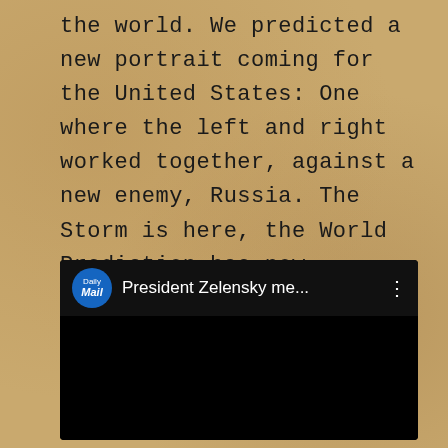the world. We predicted a new portrait coming for the United States: One where the left and right worked together, against a new enemy, Russia. The Storm is here, the World Prediction has now happened.
[Figure (screenshot): Embedded video player from Daily Mail YouTube channel showing 'President Zelensky me...' with black thumbnail and three-dot menu]